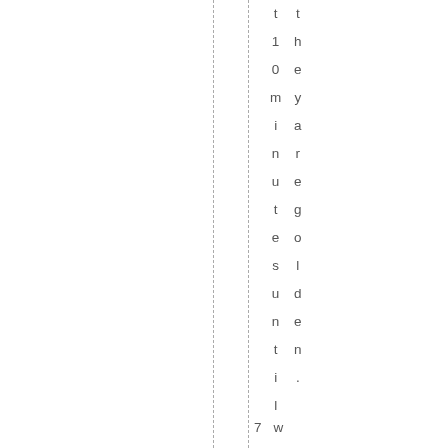t10minutesuntiltheyaregolden.7w